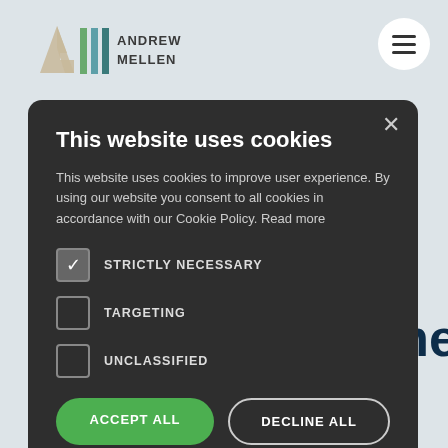[Figure (logo): Andrew Mellen logo with stylized A and vertical bars in tan and green/teal, with text ANDREW MELLEN]
This website uses cookies
This website uses cookies to improve user experience. By using our website you consent to all cookies in accordance with our Cookie Policy. Read more
STRICTLY NECESSARY (checked)
TARGETING (unchecked)
UNCLASSIFIED (unchecked)
ACCEPT ALL
DECLINE ALL
SHOW DETAILS
POWERED BY COOKIE-SCRIPT